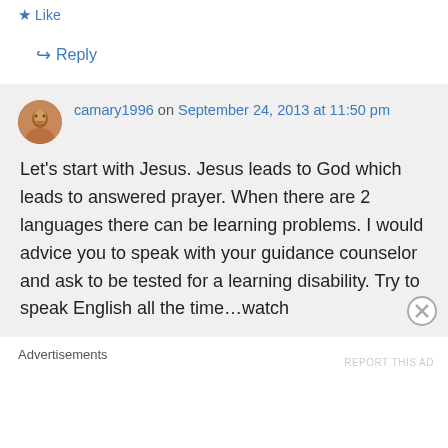Like
↳ Reply
camary1996 on September 24, 2013 at 11:50 pm
Let's start with Jesus. Jesus leads to God which leads to answered prayer. When there are 2 languages there can be learning problems. I would advice you to speak with your guidance counselor and ask to be tested for a learning disability. Try to speak English all the time…watch
Advertisements